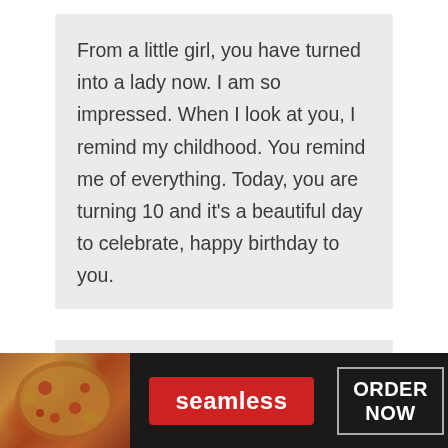From a little girl, you have turned into a lady now. I am so impressed. When I look at you, I remind my childhood. You remind me of everything. Today, you are turning 10 and it's a beautiful day to celebrate, happy birthday to you.
Happy birthday to my little angel. You are 10 now. You have grown into a smart lady. I am so happy that you are being a wonderful
[Figure (other): Seamless food delivery advertisement banner with pizza image on left, red Seamless logo in center, and ORDER NOW button on right, on dark background]